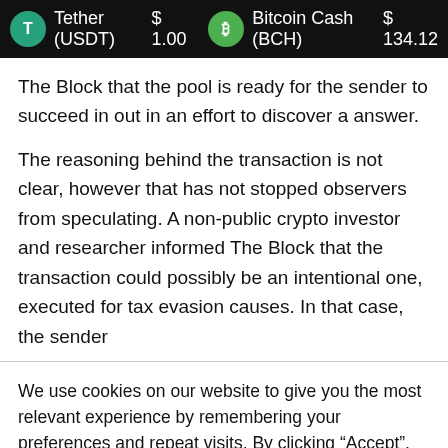Tether (USDT) $1.00   Bitcoin Cash (BCH) $134.12
The Block that the pool is ready for the sender to succeed in out in an effort to discover a answer.
The reasoning behind the transaction is not clear, however that has not stopped observers from speculating. A non-public crypto investor and researcher informed The Block that the transaction could possibly be an intentional one, executed for tax evasion causes. In that case, the sender
We use cookies on our website to give you the most relevant experience by remembering your preferences and repeat visits. By clicking “Accept”, you consent to the use of ALL the cookies.
Do not sell my personal information.
Cookie settings   ACCEPT